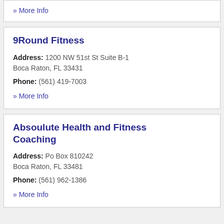» More Info
9Round Fitness
Address: 1200 NW 51st St Suite B-1
Boca Raton, FL 33431
Phone: (561) 419-7003
» More Info
Absoulute Health and Fitness Coaching
Address: Po Box 810242
Boca Raton, FL 33481
Phone: (561) 962-1386
» More Info